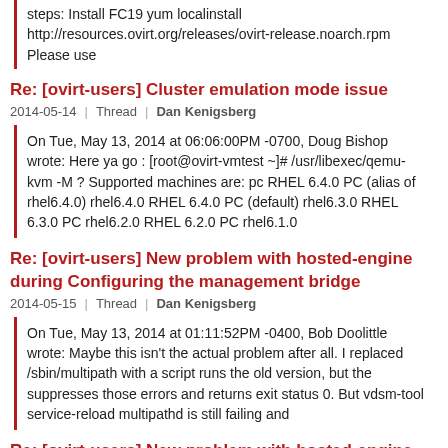steps: Install FC19 yum localinstall http://resources.ovirt.org/releases/ovirt-release.noarch.rpm Please use
Re: [ovirt-users] Cluster emulation mode issue
2014-05-14 | Thread | Dan Kenigsberg
On Tue, May 13, 2014 at 06:06:00PM -0700, Doug Bishop wrote: Here ya go : [root@ovirt-vmtest ~]# /usr/libexec/qemu-kvm -M ? Supported machines are: pc RHEL 6.4.0 PC (alias of rhel6.4.0) rhel6.4.0 RHEL 6.4.0 PC (default) rhel6.3.0 RHEL 6.3.0 PC rhel6.2.0 RHEL 6.2.0 PC rhel6.1.0
Re: [ovirt-users] New problem with hosted-engine during Configuring the management bridge
2014-05-15 | Thread | Dan Kenigsberg
On Tue, May 13, 2014 at 01:11:52PM -0400, Bob Doolittle wrote: Maybe this isn't the actual problem after all. I replaced /sbin/multipath with a script runs the old version, but the suppresses those errors and returns exit status 0. But vdsm-tool service-reload multipathd is still failing and
Re: [ovirt-users] New problem with hosted-engine